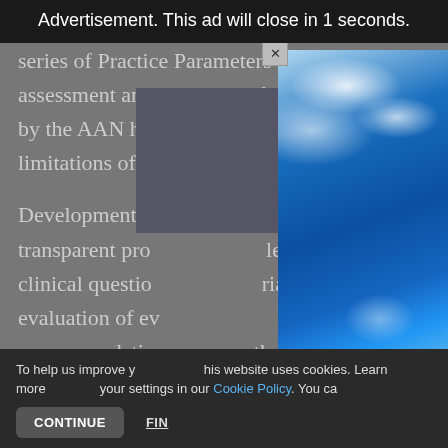Advertisement. This ad will close in 1 seconds.
subspecialties. The recent development of a series of Practice Parameters for the assessment and treatment of Parkinson disease by the AAN has clarified the strengths and limitations of the current evidence on diagnosis and therapy.
Development of these parameters required a rigorous, transparent process that included clearly stated clinical questions, explicit and prespecified criteria for evaluation of evidence of varying quality, and recommendation grades linked to evidence. The OSS,
[Figure (photo): Advertisement photo showing sky with clouds (blue sky background with white clouds swirling)]
To help us improve your experience on this website uses cookies. Learn more and adjust your settings in our Cookie Policy. You ca...
CONTINUE   FIND OUT MORE